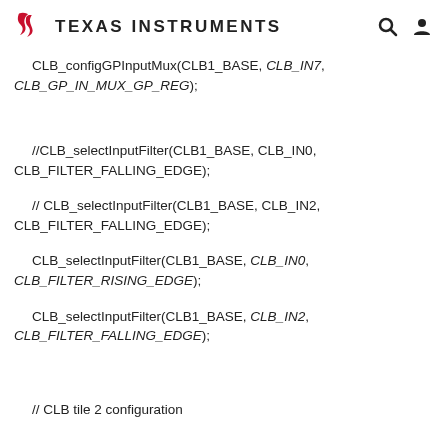Texas Instruments
CLB_configGPInputMux(CLB1_BASE, CLB_IN7, CLB_GP_IN_MUX_GP_REG);
//CLB_selectInputFilter(CLB1_BASE, CLB_IN0, CLB_FILTER_FALLING_EDGE);
// CLB_selectInputFilter(CLB1_BASE, CLB_IN2, CLB_FILTER_FALLING_EDGE);
CLB_selectInputFilter(CLB1_BASE, CLB_IN0, CLB_FILTER_RISING_EDGE);
CLB_selectInputFilter(CLB1_BASE, CLB_IN2, CLB_FILTER_FALLING_EDGE);
// CLB tile 2 configuration